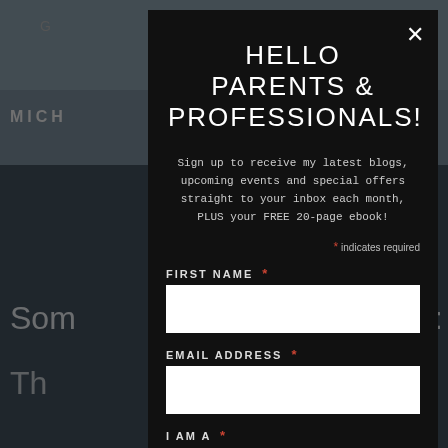[Figure (screenshot): Website background showing navigation bar with 'MICH' text, partial page text 'Som' and 'ben:' and 'Th' and 'g' in white on dark rocky landscape background]
HELLO PARENTS & PROFESSIONALS!
Sign up to receive my latest blogs, upcoming events and special offers straight to your inbox each month, PLUS your FREE 20-page ebook!
* indicates required
FIRST NAME *
EMAIL ADDRESS *
I AM A *